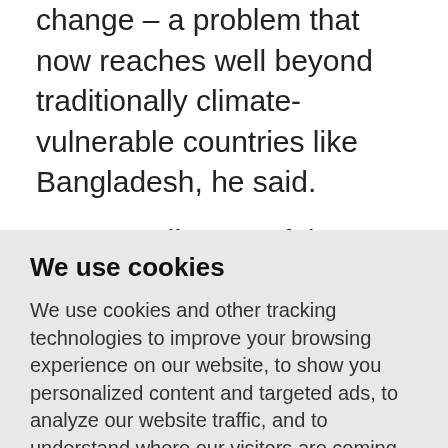change – a problem that now reaches well beyond traditionally climate-vulnerable countries like Bangladesh, he said.
Huq, 69, director of the International Centre for Climate Change and Development in Dhaka, has attended every one of the 26 COP meetings held since the first in Berlin, in 1995.
We use cookies
We use cookies and other tracking technologies to improve your browsing experience on our website, to show you personalized content and targeted ads, to analyze our website traffic, and to understand where our visitors are coming from.